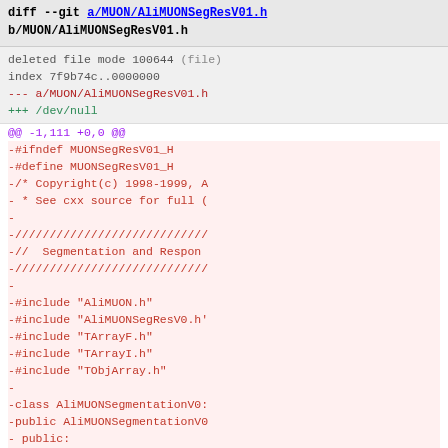diff --git a/MUON/AliMUONSegResV01.h b/MUON/AliMUONSegResV01.h
deleted file mode 100644 (file)
index 7f9b74c..0000000
--- a/MUON/AliMUONSegResV01.h
+++ /dev/null
@@ -1,111 +0,0 @@
-#ifndef MUONSegResV01_H
-#define MUONSegResV01_H
-/* Copyright(c) 1998-1999, A
- * See cxx source for full (
-
-////////////////////////////
-//  Segmentation and Respon
-////////////////////////////
-
-#include "AliMUON.h"
-#include "AliMUONSegResV0.h'
-#include "TArrayF.h"
-#include "TArrayI.h"
-#include "TObjArray.h"
-
-class AliMUONSegmentationV0:
-public AliMUONSegmentationV0
- public:
-      AliMUONSegmentationV01(:
-      virtual ~AliMUONSegmenta
-      //
-      // Set Chamber Segmental
-      //
-      virtual  void   SetPadD